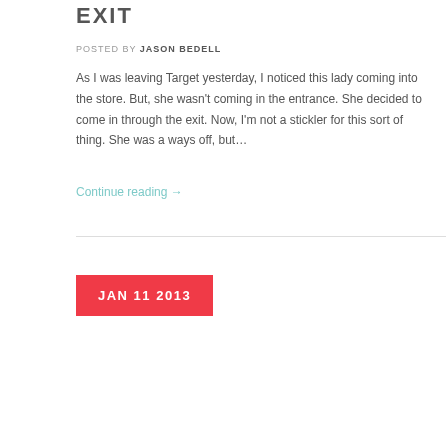EXIT
POSTED BY JASON BEDELL
As I was leaving Target yesterday, I noticed this lady coming into the store. But, she wasn't coming in the entrance. She decided to come in through the exit. Now, I'm not a stickler for this sort of thing. She was a ways off, but…
Continue reading →
JAN 11 2013